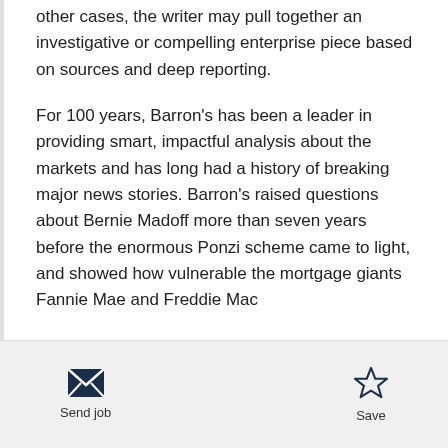other cases, the writer may pull together an investigative or compelling enterprise piece based on sources and deep reporting.

For 100 years, Barron's has been a leader in providing smart, impactful analysis about the markets and has long had a history of breaking major news stories. Barron's raised questions about Bernie Madoff more than seven years before the enormous Ponzi scheme came to light, and showed how vulnerable the mortgage giants Fannie Mae and Freddie Mac
[Figure (other): Send job button with envelope icon and Save button with star icon in a footer bar]